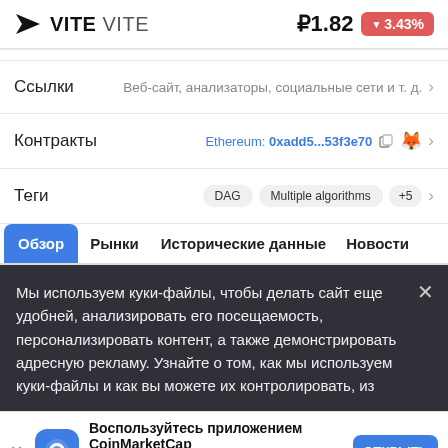VITE VITE  ₽1.82  ▼3.43%
Ссылки  Веб-сайт, анализаторы, социальные сети и т. д.
Контракты  Ethereum: 0xadd5...53f3e70
Теги  DAG  Multiple algorithms  +5
Обзор  Рынки  Исторические данные  Новости
Мы используем куки-файлы, чтобы делать сайт еще удобней, анализировать его посещаемость, персонализировать контент, а также демонстрировать адресную рекламу. Узнайте о том, как мы используем куки-файлы и как вы можете их контролировать, из
Воспользуйтесь приложением CoinMarketCap  Вас ждёт больше функций и полноценный пользовательский опыт